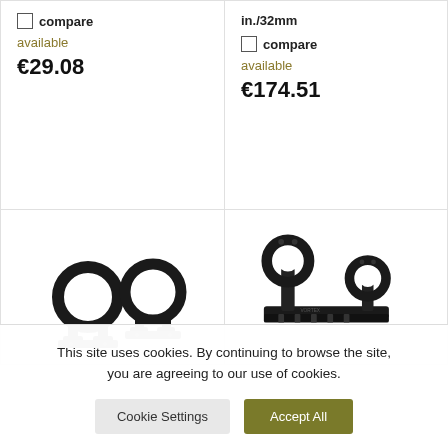compare
available
€29.08
in./32mm
compare
available
€174.51
[Figure (photo): Two black scope rings for rifle mounting]
[Figure (photo): Black cantilever scope mount with two rings]
This site uses cookies. By continuing to browse the site, you are agreeing to our use of cookies.
Cookie Settings
Accept All